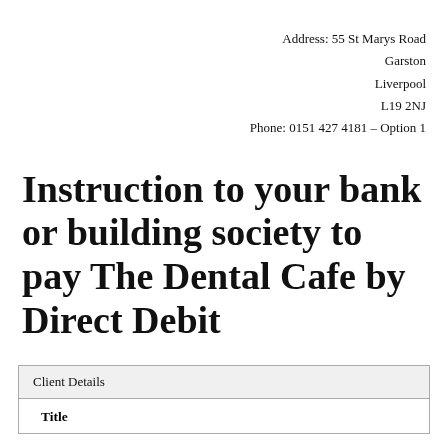Address: 55 St Marys Road
Garston
Liverpool
L19 2NJ
Phone: 0151 427 4181 – Option 1
Instruction to your bank or building society to pay The Dental Cafe by Direct Debit
| Client Details |
| --- |
| Title |